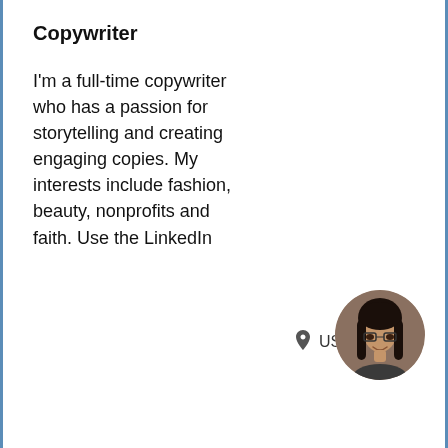Copywriter
I'm a full-time copywriter who has a passion for storytelling and creating engaging copies. My interests include fashion, beauty, nonprofits and faith. Use the LinkedIn
US
[Figure (photo): Circular profile photo of a young woman with long dark hair wearing glasses]